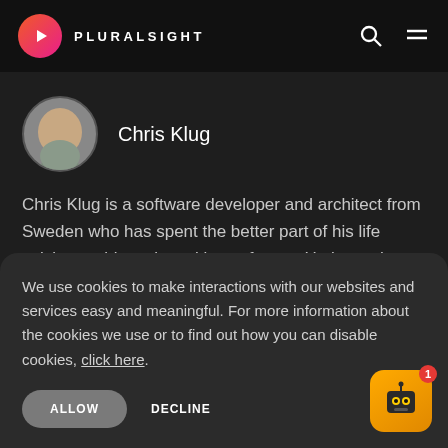[Figure (logo): Pluralsight logo with play button icon in pink/orange gradient circle and PLURALSIGHT text]
[Figure (photo): Circular headshot photo of Chris Klug, a bald man wearing a patterned shirt]
Chris Klug
Chris Klug is a software developer and architect from Sweden who has spent the better part of his life solving problems by writing software. He loves the creative side of coding as well as the challenges
We use cookies to make interactions with our websites and services easy and meaningful. For more information about the cookies we use or to find out how you can disable cookies, click here.
ALLOW
DECLINE